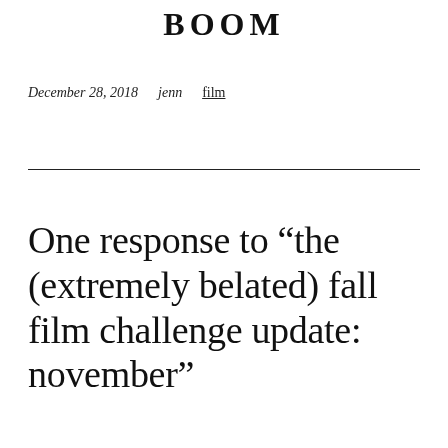BOOM
December 28, 2018   jenn   film
One response to “the (extremely belated) fall film challenge update: november”